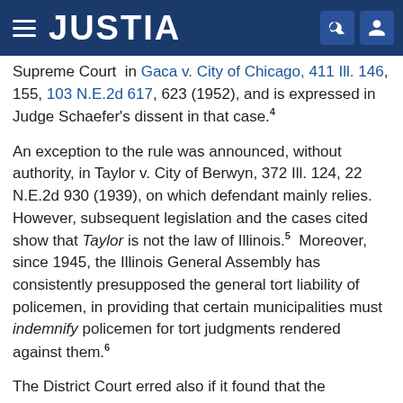JUSTIA
Supreme Court in Gaca v. City of Chicago, 411 Ill. 146, 155, 103 N.E.2d 617, 623 (1952), and is expressed in Judge Schaefer's dissent in that case.4
An exception to the rule was announced, without authority, in Taylor v. City of Berwyn, 372 Ill. 124, 22 N.E.2d 930 (1939), on which defendant mainly relies. However, subsequent legislation and the cases cited show that Taylor is not the law of Illinois.5  Moreover, since 1945, the Illinois General Assembly has consistently presupposed the general tort liability of policemen, in providing that certain municipalities must indemnify policemen for tort judgments rendered against them.6
The District Court erred also if it found that the evidence failed to establish liability.